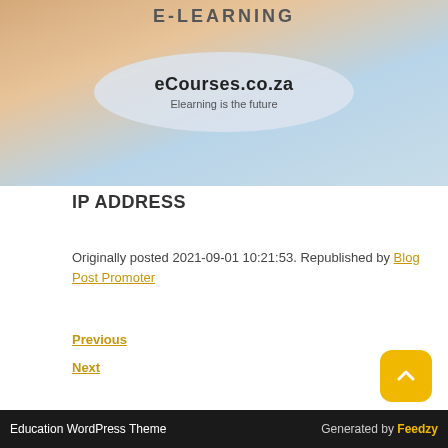[Figure (screenshot): Website header banner for eCourses.co.za e-learning site, showing 'E-LEARNING' text at top with educational icons, and an oval/ellipse containing the site title 'eCourses.co.za' and tagline 'Elearning is the future']
IP ADDRESS
Originally posted 2021-09-01 10:21:53. Republished by Blog Post Promoter
Previous
Next
Education WordPress Theme | Generated by Feedzy